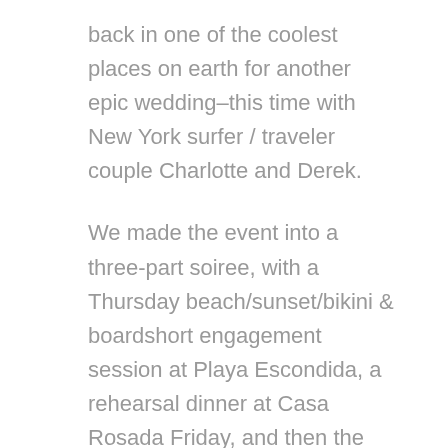back in one of the coolest places on earth for another epic wedding–this time with New York surfer / traveler couple Charlotte and Derek.
We made the event into a three-part soiree, with a Thursday beach/sunset/bikini & boardshort engagement session at Playa Escondida, a rehearsal dinner at Casa Rosada Friday, and then the main event Saturday.
The dudes got ready in a magnificent house overlooking Playa Rosada, drinking Toñas in the pool until jamming over to Casa Los